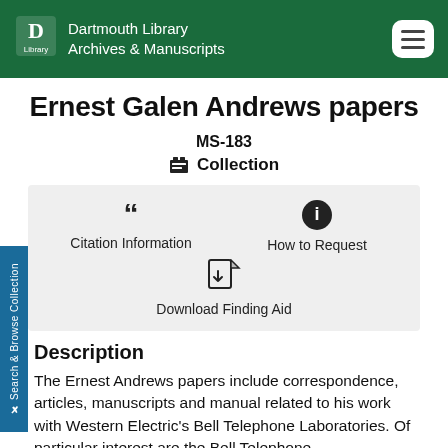Dartmouth Library Archives & Manuscripts
Ernest Galen Andrews papers
MS-183
Collection
Citation Information
How to Request
Download Finding Aid
Description
The Ernest Andrews papers include correspondence, articles, manuscripts and manual related to his work with Western Electric's Bell Telephone Laboratories. Of particular interest are the Bell Telephone